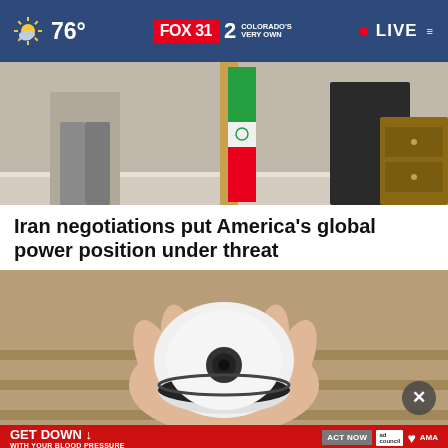76° FOX31 2 COLORADO'S VERY OWN • LIVE
[Figure (photo): Photo of people standing indoors with an Iranian flag visible on the right side, wood furniture in background.]
Iran negotiations put America's global power position under threat
[Figure (photo): Hand holding a white dome-shaped security camera, wooden stairs in background.]
[Figure (other): Advertisement banner: GET DOWN WITH YOUR BLOOD PRESSURE - In partnership with the Office of Minority Health and Health Resources & Services Administration. ACT NOW button. ad council, American Heart Association, and AMA logos.]